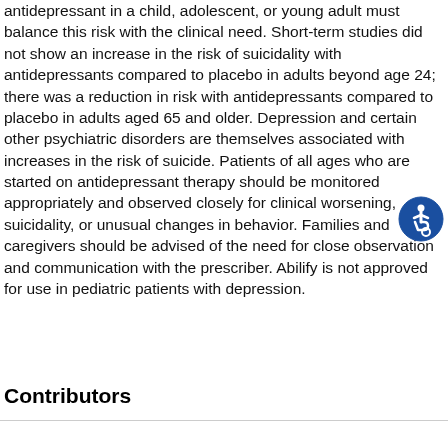Anyone considering the use of adjunctive Abilify or any other antidepressant in a child, adolescent, or young adult must balance this risk with the clinical need. Short-term studies did not show an increase in the risk of suicidality with antidepressants compared to placebo in adults beyond age 24; there was a reduction in risk with antidepressants compared to placebo in adults aged 65 and older. Depression and certain other psychiatric disorders are themselves associated with increases in the risk of suicide. Patients of all ages who are started on antidepressant therapy should be monitored appropriately and observed closely for clinical worsening, suicidality, or unusual changes in behavior. Families and caregivers should be advised of the need for close observation and communication with the prescriber. Abilify is not approved for use in pediatric patients with depression.
Contributors